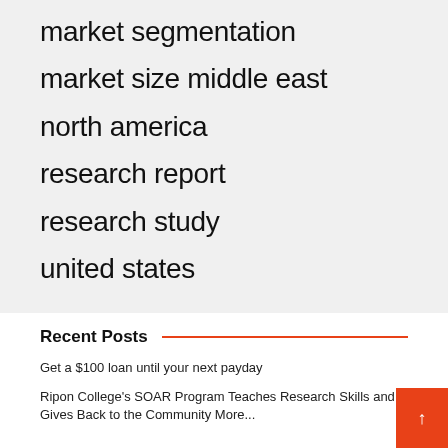market segmentation
market size middle east
north america
research report
research study
united states
Recent Posts
Get a $100 loan until your next payday
Ripon College's SOAR Program Teaches Research Skills and Gives Back to the Community More...